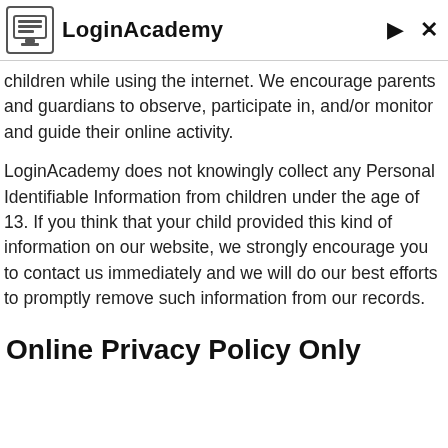LoginAcademy
children while using the internet. We encourage parents and guardians to observe, participate in, and/or monitor and guide their online activity.
LoginAcademy does not knowingly collect any Personal Identifiable Information from children under the age of 13. If you think that your child provided this kind of information on our website, we strongly encourage you to contact us immediately and we will do our best efforts to promptly remove such information from our records.
Online Privacy Policy Only